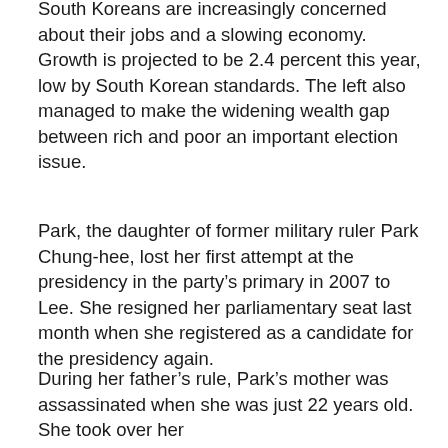South Koreans are increasingly concerned about their jobs and a slowing economy. Growth is projected to be 2.4 percent this year, low by South Korean standards. The left also managed to make the widening wealth gap between rich and poor an important election issue.
Park, the daughter of former military ruler Park Chung-hee, lost her first attempt at the presidency in the party's primary in 2007 to Lee. She resigned her parliamentary seat last month when she registered as a candidate for the presidency again.
During her father's rule, Park's mother was assassinated when she was just 22 years old. She took over her mother's role as South Korea's first lady. Her father was later assassinated in 1979 by a bodyguard.
Many women in Korea hope that Park's ascendancy to the presidency will break the glass ceiling that still exists in their society. Although the country is one of Asia's most